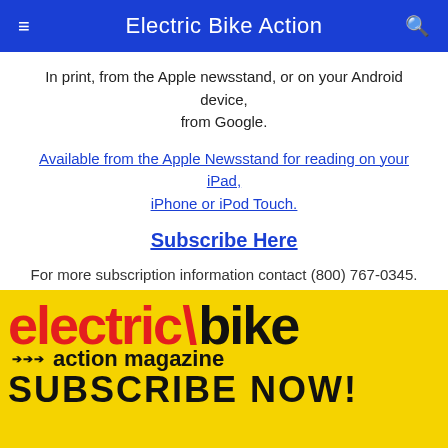Electric Bike Action
In print, from the Apple newsstand, or on your Android device, from Google.
Available from the Apple Newsstand for reading on your iPad, iPhone or iPod Touch.
Subscribe Here
For more subscription information contact (800) 767-0345.
Got something on your mind? Let us know at
[Figure (logo): Electric Bike Action Magazine logo on yellow background with 'SUBSCRIBE NOW!' text below]